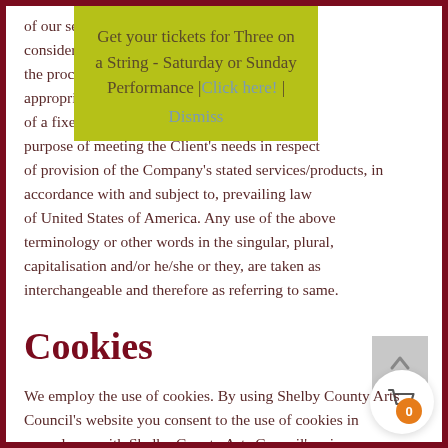of our services. All ... free and consideration of ... ake the process of ou... he most appropriate man... ings of a fixed duratio... express purpose of meeting the Client’s needs in respect of provision of the Company’s stated services/products, in accordance with and subject to, prevailing law of United States of America. Any use of the above terminology or other words in the singular, plural, capitalisation and/or he/she or they, are taken as interchangeable and therefore as referring to same.
[Figure (other): Yellow-green popup overlay: 'Get your tickets for Three on a String - Saturday or Sunday Performance | Click here! | Dismiss']
Cookies
We employ the use of cookies. By using Shelby County Arts Council’s website you consent to the use of cookies in accordance with Shelby County Arts Council’s privacy...